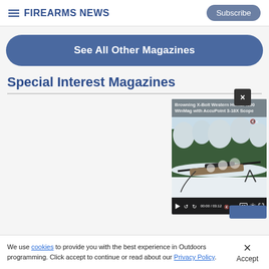Firearms News | Subscribe
See All Other Magazines
Special Interest Magazines
[Figure (screenshot): Video player showing Browning X-Bolt Western Hunter .300 WinMag with AccuPoint 3-18X Scope. Duration 03:12, currently at 00:00. Shows a rifle in snow with trees in background.]
We use cookies to provide you with the best experience in Outdoors programming. Click accept to continue or read about our Privacy Policy.